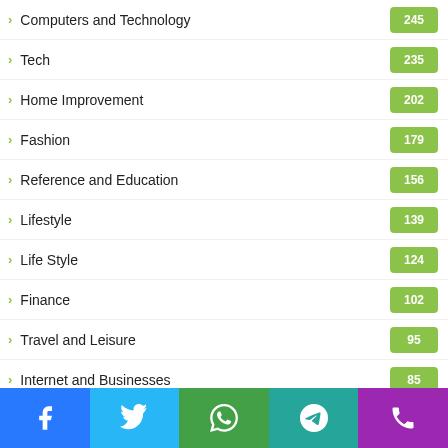Computers and Technology  245
Tech  235
Home Improvement  202
Fashion  179
Reference and Education  156
Lifestyle  139
Life Style  124
Finance  102
Travel and Leisure  95
Internet and Businesses  85
Writing and Speaking  84
Real Estate  83
Digital Markting
Facebook | Twitter | WhatsApp | Telegram | Phone